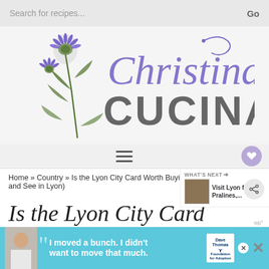[Figure (logo): Search bar with placeholder text 'Search for recipes...' and 'Go' button on right]
[Figure (logo): Christina's Cucina logo with purple script lettering and thistle flower illustration]
[Figure (infographic): Hamburger menu icon (three horizontal lines) and heart/favoriting button and share button]
Home » Country » Is the Lyon City Card Worth Buying? (Top Things to do and See in Lyon)
[Figure (photo): WHAT'S NEXT panel with thumbnail and text 'Visit Lyon for Pralines,...']
Is the Lyon City Card
[Figure (infographic): Advertisement banner: Dave Thomas Foundation for Adoption ad with quote 'I moved a bunch. I didn't want to move that much.']